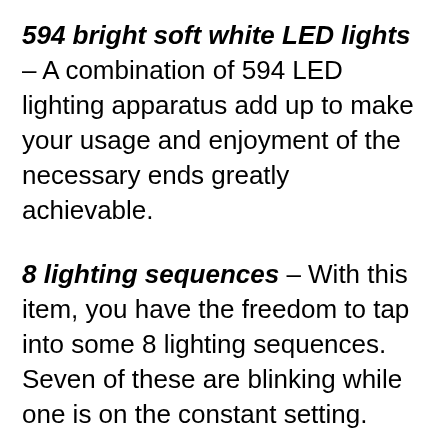594 bright soft white LED lights – A combination of 594 LED lighting apparatus add up to make your usage and enjoyment of the necessary ends greatly achievable.
8 lighting sequences – With this item, you have the freedom to tap into some 8 lighting sequences. Seven of these are blinking while one is on the constant setting.
Low profile clear light strings – By and large, the item maintains some low profile. It is hence suitable for...